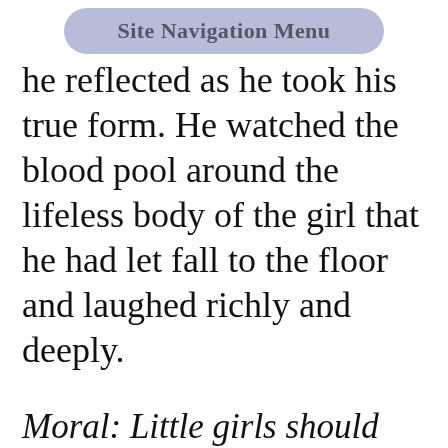Site Navigation Menu
he reflected as he took his true form. He watched the blood pool around the lifeless body of the girl that he had let fall to the floor and laughed richly and deeply.
Moral: Little girls should never talk to strangers, for if they